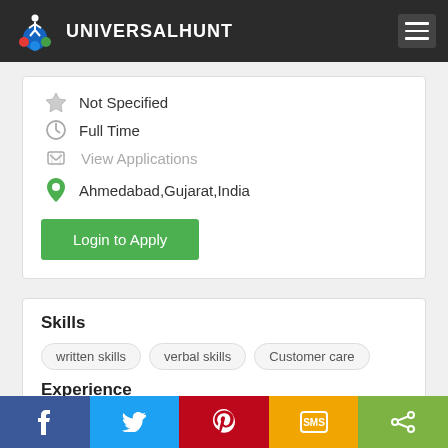UNIVERSALHUNT
Not Specified
Full Time
View Applications
Ahmedabad,Gujarat,India
Login to Apply
Skills
written skills
verbal skills
Customer care
Experience
f  (Twitter bird)  (Pinterest)  SMS  (Share)